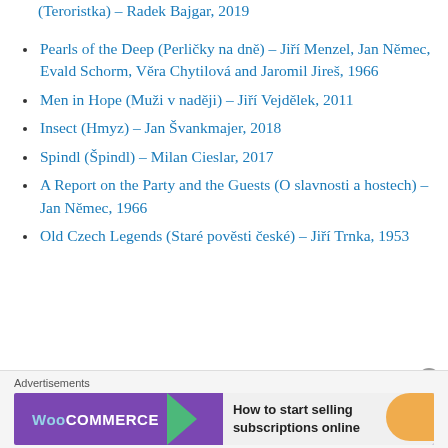(Teroristka) – Radek Bajgar, 2019
Pearls of the Deep (Perličky na dně) – Jiří Menzel, Jan Němec, Evald Schorm, Věra Chytilová and Jaromil Jireš, 1966
Men in Hope (Muži v naději) – Jiří Vejdělek, 2011
Insect (Hmyz) – Jan Švankmajer, 2018
Spindl (Špindl) – Milan Cieslar, 2017
A Report on the Party and the Guests (O slavnosti a hostech) – Jan Němec, 1966
Old Czech Legends (Staré pověsti české) – Jiří Trnka, 1953
[Figure (infographic): WooCommerce advertisement banner with purple background, green arrow, and text 'How to start selling subscriptions online']